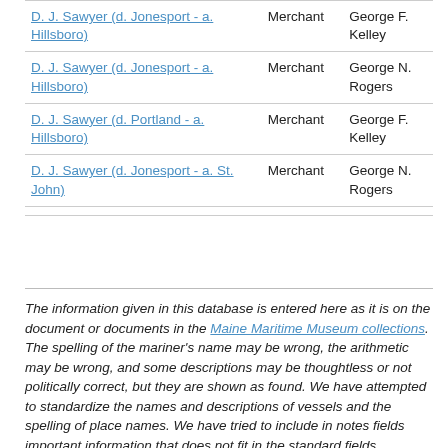| D. J. Sawyer (d. Jonesport - a. Hillsboro) | Merchant | George F. Kelley |
| D. J. Sawyer (d. Jonesport - a. Hillsboro) | Merchant | George N. Rogers |
| D. J. Sawyer (d. Portland - a. Hillsboro) | Merchant | George F. Kelley |
| D. J. Sawyer (d. Jonesport - a. St. John) | Merchant | George N. Rogers |
The information given in this database is entered here as it is on the document or documents in the Maine Maritime Museum collections. The spelling of the mariner's name may be wrong, the arithmetic may be wrong, and some descriptions may be thoughtless or not politically correct, but they are shown as found. We have attempted to standardize the names and descriptions of vessels and the spelling of place names. We have tried to include in notes fields important information that does not fit in the standard fields.